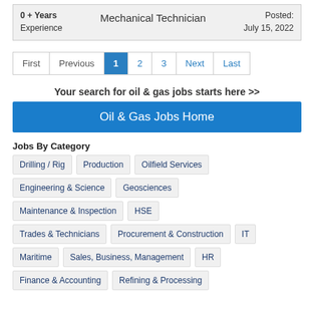0 + Years Experience | Mechanical Technician | Posted: July 15, 2022
First Previous 1 2 3 Next Last
Your search for oil & gas jobs starts here >>
Oil & Gas Jobs Home
Jobs By Category
Drilling / Rig
Production
Oilfield Services
Engineering & Science
Geosciences
Maintenance & Inspection
HSE
Trades & Technicians
Procurement & Construction
IT
Maritime
Sales, Business, Management
HR
Finance & Accounting
Refining & Processing